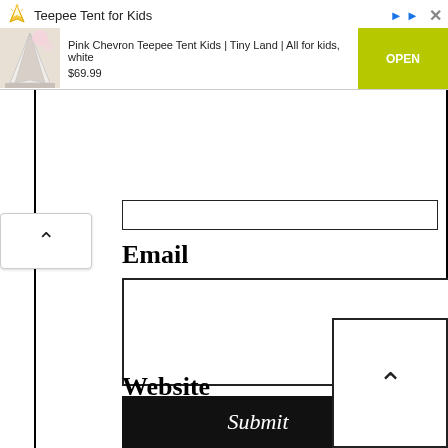[Figure (screenshot): Advertisement banner for 'Teepee Tent for Kids' showing a product image of a Pink Chevron Teepee Tent, priced at $69.99, with an OPEN button in yellow-green, and a close/arrow button.]
Email
[Figure (other): Empty text input box for Email field]
Website
[Figure (other): Empty text input box for Website field]
[Figure (other): Submit button (black background, white italic text)]
[Figure (other): Scroll-up (chevron up) button, bottom right corner]
[Figure (other): Scroll-up (chevron up) button, left side middle]